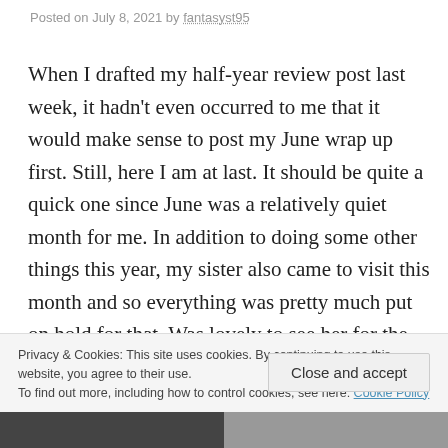Posted on July 8, 2021 by fantasyst95
When I drafted my half-year review post last week, it hadn't even occurred to me that it would make sense to post my June wrap up first. Still, here I am at last. It should be quite a quick one since June was a relatively quiet month for me. In addition to doing some other things this year, my sister also came to visit this month and so everything was pretty much put on hold for that. Was lovely to see her for the first time in 16
Privacy & Cookies: This site uses cookies. By continuing to use this website, you agree to their use.
To find out more, including how to control cookies, see here: Cookie Policy
Close and accept